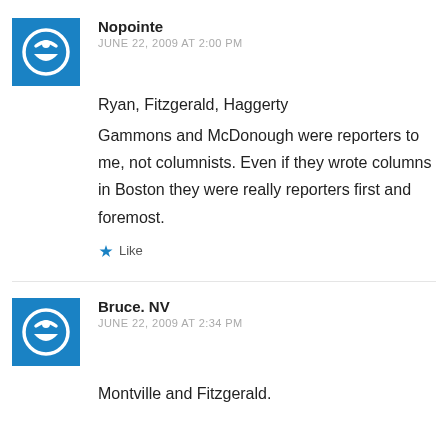Nopointe
JUNE 22, 2009 AT 2:00 PM
Ryan, Fitzgerald, Haggerty
Gammons and McDonough were reporters to me, not columnists. Even if they wrote columns in Boston they were really reporters first and foremost.
★ Like
Bruce. NV
JUNE 22, 2009 AT 2:34 PM
Montville and Fitzgerald.